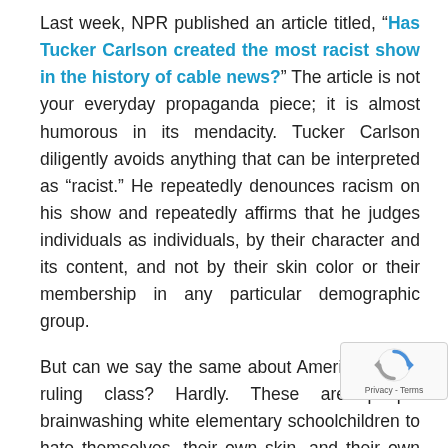Last week, NPR published an article titled, “Has Tucker Carlson created the most racist show in the history of cable news?” The article is not your everyday propaganda piece; it is almost humorous in its mendacity. Tucker Carlson diligently avoids anything that can be interpreted as “racist.” He repeatedly denounces racism on his show and repeatedly affirms that he judges individuals as individuals, by their character and its content, and not by their skin color or their membership in any particular demographic group.
But can we say the same about America’s leftist ruling class? Hardly. These are people brainwashing white elementary schoolchildren to hate themselves, their own skin, and their own history. These are people who believe blatant racist discrimination against white minorities...
[Figure (logo): reCAPTCHA badge with rotating arrows icon and Privacy - Terms text]